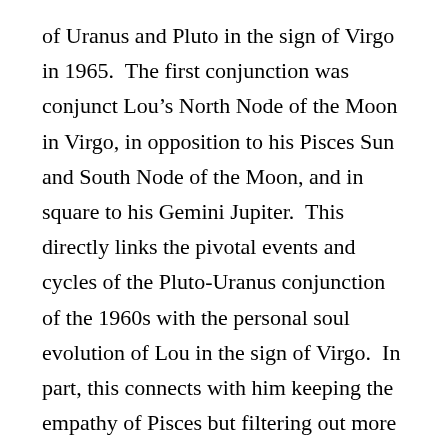of Uranus and Pluto in the sign of Virgo in 1965.  The first conjunction was conjunct Lou's North Node of the Moon in Virgo, in opposition to his Pisces Sun and South Node of the Moon, and in square to his Gemini Jupiter.  This directly links the pivotal events and cycles of the Pluto-Uranus conjunction of the 1960s with the personal soul evolution of Lou in the sign of Virgo.  In part, this connects with him keeping the empathy of Pisces but filtering out more of the delusional confusion concerning reality Pisces can create through illusion, into a strong Virgo sense of confronting reality in the moment with honesty, using the Pisces gifts of poetry and symbolism.  Again, since his Virgo North Node of the Moon as well as his Virgo Neptune are